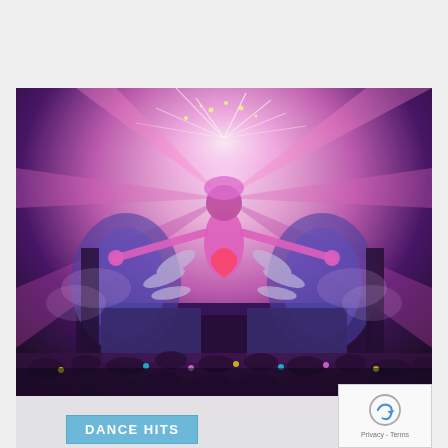[Figure (photo): A large festival stage photo showing a giant illuminated angel/goddess figure with outstretched arms and wings, pink and purple lighting, fireworks, laser beams, and a massive crowd in the foreground. The scene is from a major music festival (likely Tomorrowland or similar EDM festival).]
DANCE HITS